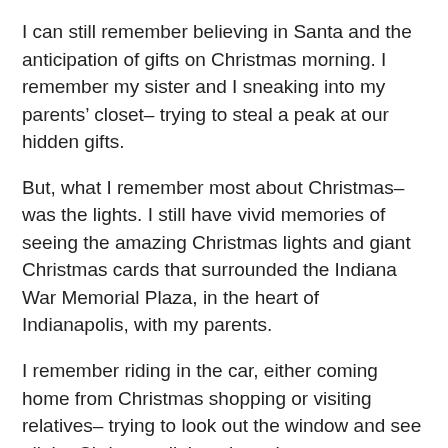I can still remember believing in Santa and the anticipation of gifts on Christmas morning. I remember my sister and I sneaking into my parents’ closet– trying to steal a peak at our hidden gifts.
But, what I remember most about Christmas– was the lights. I still have vivid memories of seeing the amazing Christmas lights and giant Christmas cards that surrounded the Indiana War Memorial Plaza, in the heart of Indianapolis, with my parents.
I remember riding in the car, either coming home from Christmas shopping or visiting relatives– trying to look out the window and see all the Christmas lights along the way.
I remember pulling out boxes of old Christmas decorations with my Dad and spending hours– trying to untangle lights